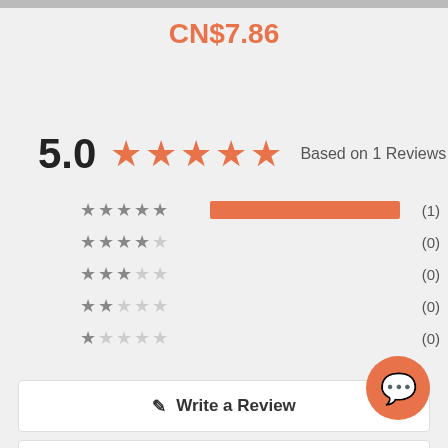CN$7.86
[Figure (infographic): 5.0 star rating with 5 filled orange stars and text 'Based on 1 Reviews']
[Figure (infographic): Star rating breakdown bars: 5-star (1), 4-star (0), 3-star (0), 2-star (0), 1-star (0)]
Write a Review
Ask a Question